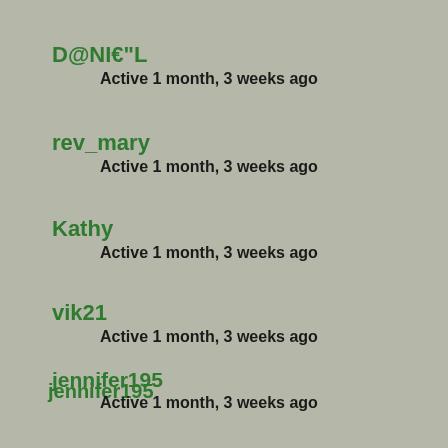D@NI€"L
Active 1 month, 3 weeks ago
rev_mary
Active 1 month, 3 weeks ago
Kathy
Active 1 month, 3 weeks ago
vik21
Active 1 month, 3 weeks ago
jennifer195
Active 1 month, 3 weeks ago
Ace22143
Active 2 months, 1 week ago
Anna